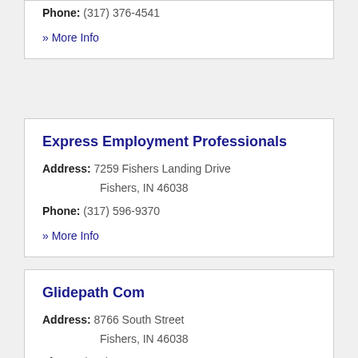Phone: (317) 376-4541
» More Info
Express Employment Professionals
Address: 7259 Fishers Landing Drive Fishers, IN 46038
Phone: (317) 596-9370
» More Info
Glidepath Com
Address: 8766 South Street Fishers, IN 46038
Phone: (317) 288-4459
» More Info